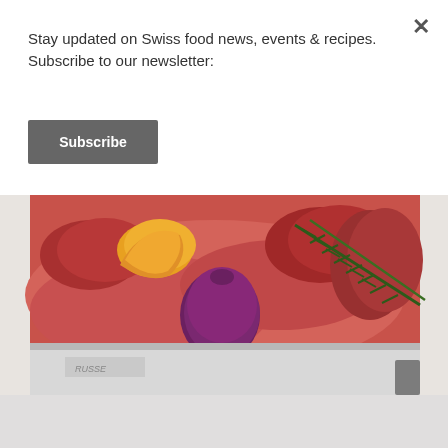Stay updated on Swiss food news, events & recipes. Subscribe to our newsletter:
Subscribe
[Figure (photo): A food photo showing a baking dish or container with a pink/red mixture, garnished with a whole fig, sliced peach or apricot, and a sprig of fresh rosemary. The dish appears to be some kind of mousse or terrine with fruit and herbs.]